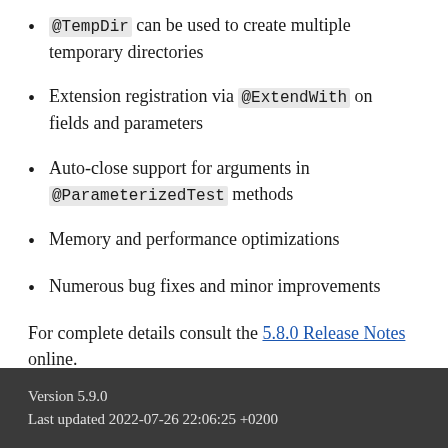@TempDir can be used to create multiple temporary directories
Extension registration via @ExtendWith on fields and parameters
Auto-close support for arguments in @ParameterizedTest methods
Memory and performance optimizations
Numerous bug fixes and minor improvements
For complete details consult the 5.8.0 Release Notes online.
Version 5.9.0
Last updated 2022-07-26 22:06:25 +0200